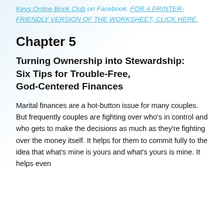Keys Online Book Club on Facebook. FOR A PRINTER-FRIENDLY VERSION OF THE WORKSHEET, CLICK HERE.
Chapter 5
Turning Ownership into Stewardship: Six Tips for Trouble-Free, God-Centered Finances
Marital finances are a hot-button issue for many couples. But frequently couples are fighting over who's in control and who gets to make the decisions as much as they're fighting over the money itself. It helps for them to commit fully to the idea that what's mine is yours and what's yours is mine. It helps even